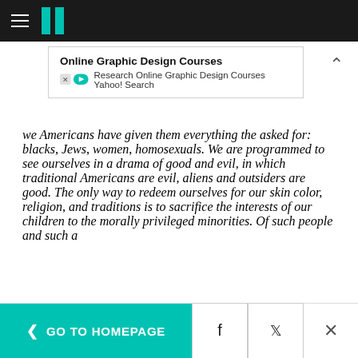HuffPost navigation bar with hamburger menu and logo
[Figure (screenshot): Advertisement banner: Online Graphic Design Courses - Research Online Graphic Design Courses Yahoo! Search]
we Americans have given them everything the asked for: blacks, Jews, women, homosexuals. We are programmed to see ourselves in a drama of good and evil, in which traditional Americans are evil, aliens and outsiders are good. The only way to redeem ourselves for our skin color, religion, and traditions is to sacrifice the interests of our children to the morally privileged minorities. Of such people and such a
< GO TO HOMEPAGE  [Facebook] [Twitter] [X]